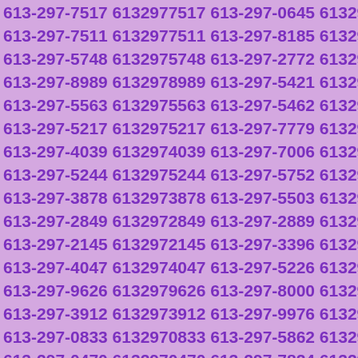613-297-7517 6132977517 613-297-0645 6132970645 613-297-7511 6132977511 613-297-8185 6132978185 613-297-5748 6132975748 613-297-2772 6132972772 613-297-8989 6132978989 613-297-5421 6132975421 613-297-5563 6132975563 613-297-5462 6132975462 613-297-5217 6132975217 613-297-7779 6132977779 613-297-4039 6132974039 613-297-7006 6132977006 613-297-5244 6132975244 613-297-5752 6132975752 613-297-3878 6132973878 613-297-5503 6132975503 613-297-2849 6132972849 613-297-2889 6132972889 613-297-2145 6132972145 613-297-3396 6132973396 613-297-4047 6132974047 613-297-5226 6132975226 613-297-9626 6132979626 613-297-8000 6132978000 613-297-3912 6132973912 613-297-9976 6132979976 613-297-0833 6132970833 613-297-5862 6132975862 613-297-0470 6132970470 613-297-7824 6132977824 613-297-0391 6132970391 613-297-7746 6132977746 613-297-6597 6132976597 613-297-1877 6132971877 613-297-1228 6132971228 613-297-1896 6132971896 613-297-4363 6132974363 613-297-1362 6132971362 613-297-4694 6132974694 613-297-5809 6132975809